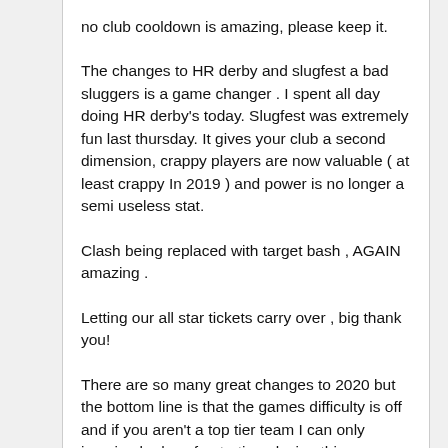no club cooldown is amazing, please keep it.
The changes to HR derby and slugfest a bad sluggers is a game changer . I spent all day doing HR derby's today. Slugfest was extremely fun last thursday. It gives your club a second dimension, crappy players are now valuable ( at least crappy In 2019 ) and power is no longer a semi useless stat.
Clash being replaced with target bash , AGAIN amazing .
Letting our all star tickets carry over , big thank you!
There are so many great changes to 2020 but the bottom line is that the games difficulty is off and if you aren't a top tier team I can only imagine be how frustrating playing this game can be